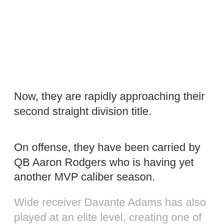Now, they are rapidly approaching their second straight division title.
On offense, they have been carried by QB Aaron Rodgers who is having yet another MVP caliber season.
Wide receiver Davante Adams has also played at an elite level, creating one of the best